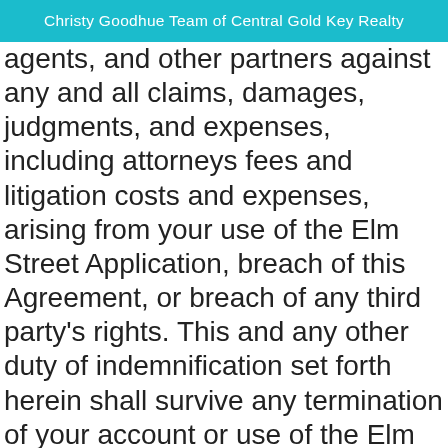Christy Goodhue Team of Central Gold Key Realty
agents, and other partners against any and all claims, damages, judgments, and expenses, including attorneys fees and litigation costs and expenses, arising from your use of the Elm Street Application, breach of this Agreement, or breach of any third party's rights. This and any other duty of indemnification set forth herein shall survive any termination of your account or use of the Elm Street Application.
16. PRIVACY POLICY.
Elm Street respects your right to privacy and understands that visitors to and account holders with the Elm Street Application need to be in control of their personal information. To that end, Elm Street has developed a Privacy